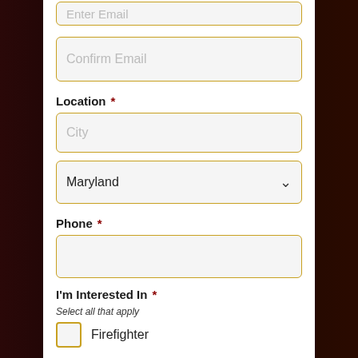Enter Email (placeholder, top, partial)
Confirm Email (placeholder)
Location *
City (placeholder)
Maryland (dropdown selected)
Phone *
I'm Interested In *
Select all that apply
Firefighter